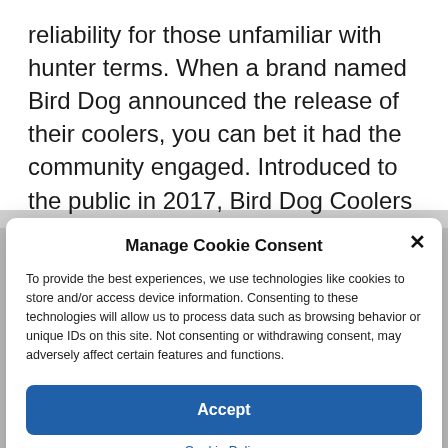reliability for those unfamiliar with hunter terms. When a brand named Bird Dog announced the release of their coolers, you can bet it had the community engaged. Introduced to the public in 2017, Bird Dog Coolers is a company that launched the...
Manage Cookie Consent
To provide the best experiences, we use technologies like cookies to store and/or access device information. Consenting to these technologies will allow us to process data such as browsing behavior or unique IDs on this site. Not consenting or withdrawing consent, may adversely affect certain features and functions.
Accept
Cookie Policy